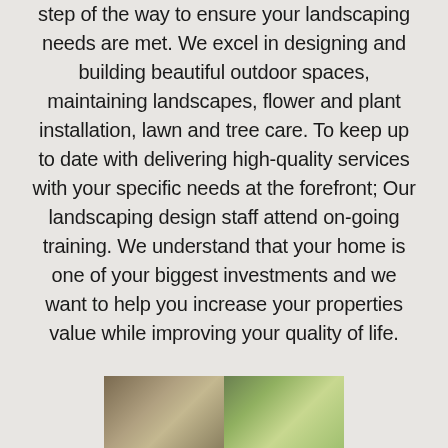step of the way to ensure your landscaping needs are met. We excel in designing and building beautiful outdoor spaces, maintaining landscapes, flower and plant installation, lawn and tree care. To keep up to date with delivering high-quality services with your specific needs at the forefront; Our landscaping design staff attend on-going training. We understand that your home is one of your biggest investments and we want to help you increase your properties value while improving your quality of life.
[Figure (photo): Two outdoor/landscaping photos side by side at the bottom of the page]